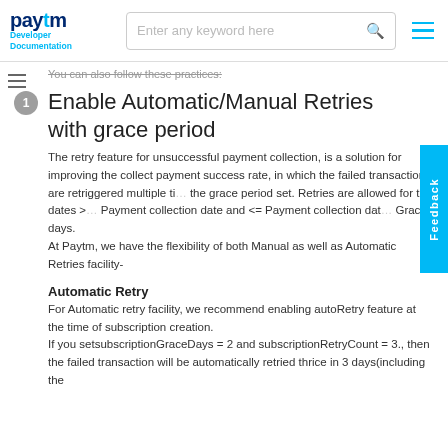Paytm Developer Documentation | Enter any keyword here
You can also follow these practices:
Enable Automatic/Manual Retries with grace period
The retry feature for unsuccessful payment collection, is a solution for improving the collect payment success rate, in which the failed transactions are retriggered multiple times within the grace period set. Retries are allowed for the dates >= Payment collection date and <= Payment collection date + Grace days.
At Paytm, we have the flexibility of both Manual as well as Automatic Retries facility-
Automatic Retry
For Automatic retry facility, we recommend enabling autoRetry feature at the time of subscription creation.
If you setsubscriptionGraceDays = 2 and subscriptionRetryCount = 3., then the failed transaction will be automatically retried thrice in 3 days(including the